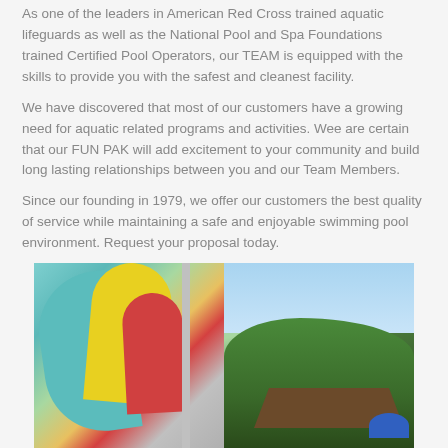As one of the leaders in American Red Cross trained aquatic lifeguards as well as the National Pool and Spa Foundations trained Certified Pool Operators, our TEAM is equipped with the skills to provide you with the safest and cleanest facility.
We have discovered that most of our customers have a growing need for aquatic related programs and activities. Wee are certain that our FUN PAK will add excitement to your community and build long lasting relationships between you and our Team Members.
Since our founding in 1979, we offer our customers the best quality of service while maintaining a safe and enjoyable swimming pool environment. Request your proposal today.
[Figure (photo): Two side-by-side photos: left shows colorful water slides (teal, yellow, red) with a metal pole; right shows a lush green outdoor pool area with trees, a thatched roof structure, and a blue umbrella under a blue sky.]